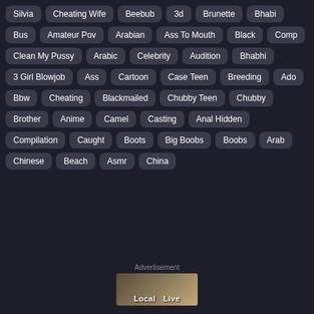Silvia
Cheating Wife
Beebub
3d
Brunette
Bhabi
Bus
Amateur Pov
Arabian
Ass To Mouth
Black
Comp
Clean My Pussy
Arabic
Celebrity
Audition
Bhabhi
3 Girl Blowjob
Ass
Cartoon
Case Teen
Breeding
Ado
Bbw
Cheating
Blackmailed
Chubby Teen
Chubby
Brother
Anime
Camel
Casting
Anal Hidden
Compilation
Caught
Boots
Big Boobs
Boobs
Arab
Chinese
Beach
Asmr
China
Advertisement
[Figure (photo): Advertisement banner showing 'Local Live' with people]